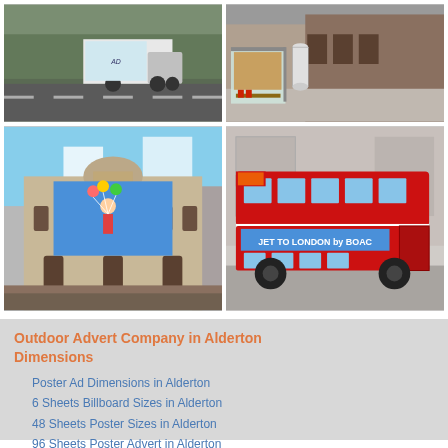[Figure (photo): A white delivery truck with advertising on the side driving on a road, trees in background]
[Figure (photo): A bus stop shelter with advertising panels and a cylindrical ad column on an urban street]
[Figure (photo): A large billboard advertisement on the side of an ornate Paris-style building featuring a figure with balloons]
[Figure (photo): A classic red London double-decker bus with a BOAC 'Jet to London by BOAC' advertisement on the side]
Outdoor Advert Company in Alderton Dimensions
Poster Ad Dimensions in Alderton
6 Sheets Billboard Sizes in Alderton
48 Sheets Poster Sizes in Alderton
96 Sheets Poster Advert in Alderton